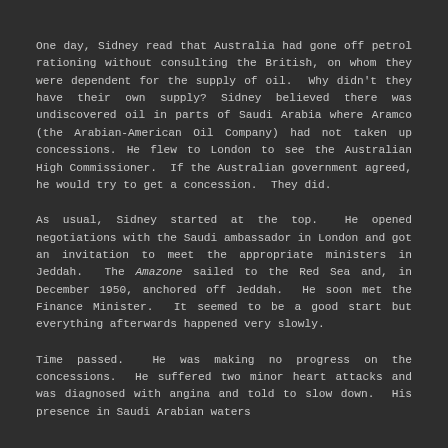One day, Sidney read that Australia had gone off petrol rationing without consulting the British, on whom they were dependent for the supply of oil.  Why didn't they have their own supply? Sidney believed there was undiscovered oil in parts of Saudi Arabia where Aramco (the Arabian-American Oil Company) had not taken up concessions. He flew to London to see the Australian High Commissioner.  If the Australian government agreed, he would try to get a concession.  They did.
As usual, Sidney started at the top.  He opened negotiations with the Saudi ambassador in London and got an invitation to meet the appropriate ministers in Jeddah.  The Amazone sailed to the Red Sea and, in December 1950, anchored off Jeddah.  He soon met the Finance Minister.  It seemed to be a good start but everything afterwards happened very slowly.
Time passed.  He was making no progress on the concessions.  He suffered two minor heart attacks and was diagnosed with angina and told to slow down.  His presence in Saudi Arabian waters